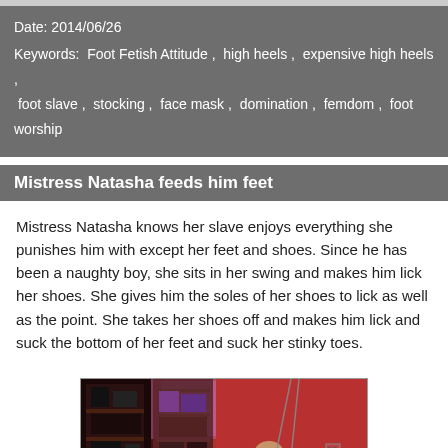Date: 2014/06/26
Keywords: Foot Fetish Attitude , high heels , expensive high heels , foot slave , stocking , face mask , domination , femdom , foot worship
Mistress Natasha feeds him feet
Mistress Natasha knows her slave enjoys everything she punishes him with except her feet and shoes. Since he has been a naughty boy, she sits in her swing and makes him lick her shoes. She gives him the soles of her shoes to lick as well as the point. She takes her shoes off and makes him lick and suck the bottom of her feet and suck her stinky toes.
[Figure (photo): Indoor scene in a red-walled room with shelving unit on the left, a person in the room, and red décor.]